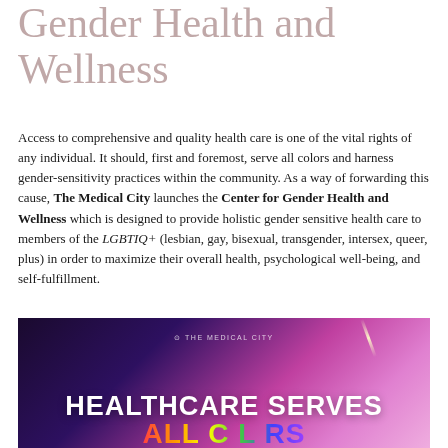Gender Health and Wellness
Access to comprehensive and quality health care is one of the vital rights of any individual. It should, first and foremost, serve all colors and harness gender-sensitivity practices within the community. As a way of forwarding this cause, The Medical City launches the Center for Gender Health and Wellness which is designed to provide holistic gender sensitive health care to members of the LGBTIQ+ (lesbian, gay, bisexual, transgender, intersex, queer, plus) in order to maximize their overall health, psychological well-being, and self-fulfillment.
[Figure (photo): Photo of a large illuminated display screen showing 'HEALTHCARE SERVES ALL COLORS' text with a rainbow/gradient background, with The Medical City logo at top. The setting appears to be an event venue with dark surroundings.]